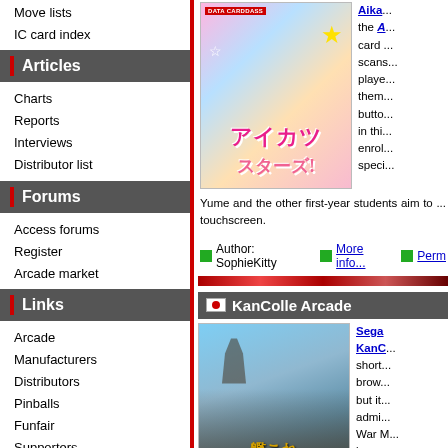Move lists
IC card index
Articles
Charts
Reports
Interviews
Distributor list
Forums
Access forums
Register
Arcade market
Links
Arcade
Manufacturers
Distributors
Pinballs
Funfair
Supporters
Exchange
[Figure (screenshot): Aikatsu Stars Data Carddass arcade game promotional image with Japanese text logo]
Aika... the Aikatsu Stars Data Carddass card game scans... players... them... button... in this... enrol... speci...
Yume and the other first-year students aim to ... touchscreen.
Author: SophieKitty   More info...   Perm...
KanColle Arcade
[Figure (screenshot): KanColle Arcade game screenshot showing anime-style naval girl characters]
Sega KanColle short... brow... but it... admi... War M... base... boa...